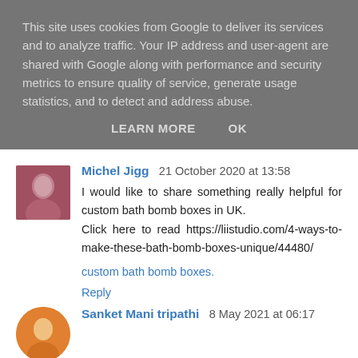This site uses cookies from Google to deliver its services and to analyze traffic. Your IP address and user-agent are shared with Google along with performance and security metrics to ensure quality of service, generate usage statistics, and to detect and address abuse.
LEARN MORE   OK
Michel Jigg  21 October 2020 at 13:58
I would like to share something really helpful for custom bath bomb boxes in UK.
Click here to read https://liistudio.com/4-ways-to-make-these-bath-bomb-boxes-unique/44480/
custom bath bomb boxes.
Reply
Sanket Mani tripathi  8 May 2021 at 06:17